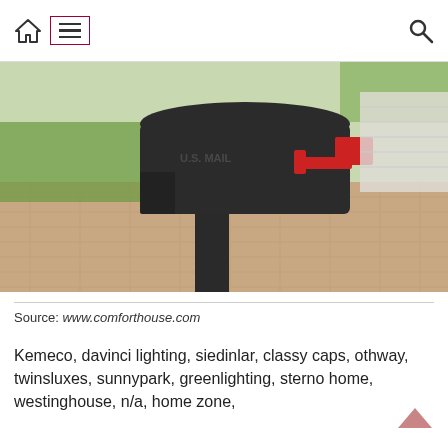Home | Menu | Search
[Figure (photo): A black metal mailbox on a black post with a red flag, set on a brick/paver driveway with green trees in background.]
Source: www.comforthouse.com
Kemeco, davinci lighting, siedinlar, classy caps, othway, twinsluxes, sunnypark, greenlighting, sterno home, westinghouse, n/a, home zone,